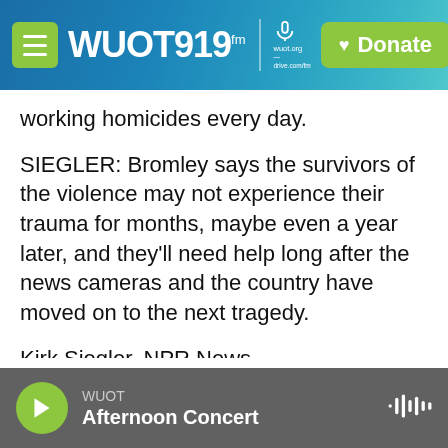WUOT 91.9 FM | wuot.org | Donate
working homicides every day.
SIEGLER: Bromley says the survivors of the violence may not experience their trauma for months, maybe even a year later, and they'll need help long after the news cameras and the country have moved on to the next tragedy.
Kirk Siegler, NPR News.
(SOUNDBITE OF MUSIC) Transcript provided by NPR, Copyright NPR.
WUOT Afternoon Concert